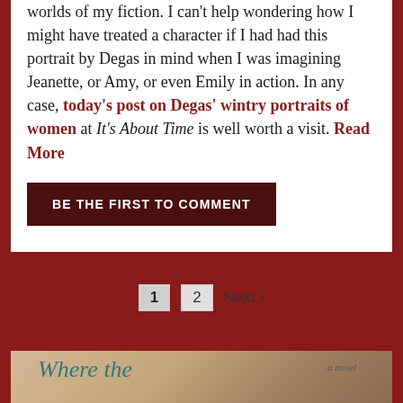worlds of my fiction. I can't help wondering how I might have treated a character if I had had this portrait by Degas in mind when I was imagining Jeanette, or Amy, or even Emily in action. In any case, today's post on Degas' wintry portraits of women at It's About Time is well worth a visit. Read More
BE THE FIRST TO COMMENT
1  2  Next ›
[Figure (photo): Book cover showing 'Where the' title text in teal italic serif font on a warm tan/brown background, with 'a novel' in small italic text to the right]